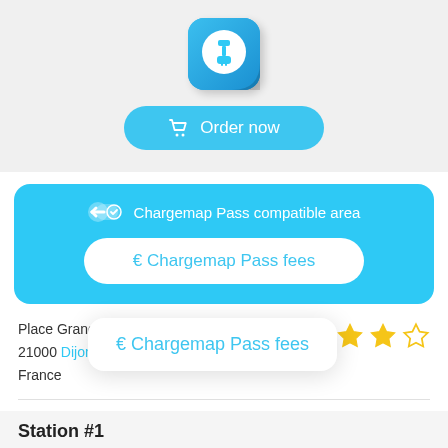[Figure (logo): Blue app icon with electric vehicle charging plug symbol in white circle]
[Figure (screenshot): Order now button with shopping cart icon, light blue rounded rectangle]
Chargemap Pass compatible area
€ Chargemap Pass fees
Place Grangier
21000 Dijon
France
[Figure (other): 4 out of 5 stars rating in gold/yellow]
Net
Cov
€ Chargemap Pass fees
Station #1